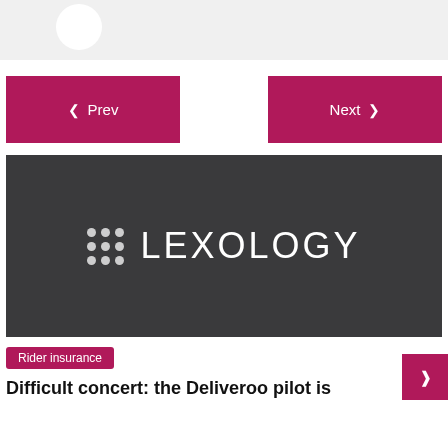[Figure (photo): Top gray bar with partial white avatar/profile circle visible]
Prev
Next
[Figure (logo): Lexology logo on dark gray background — 3x3 white dot grid followed by LEXOLOGY text in white]
Rider insurance
Difficult concert: the Deliveroo pilot is